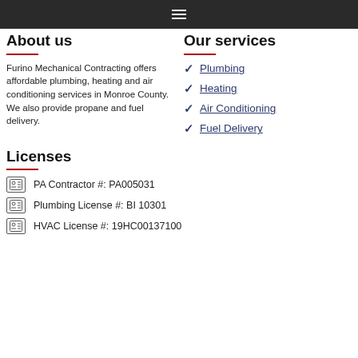☰ (navigation menu icon)
About us
Our services
Furino Mechanical Contracting offers affordable plumbing, heating and air conditioning services in Monroe County. We also provide propane and fuel delivery.
Plumbing
Heating
Air Conditioning
Fuel Delivery
Licenses
PA Contractor #: PA005031
Plumbing License #: BI 10301
HVAC License #: 19HC00137100